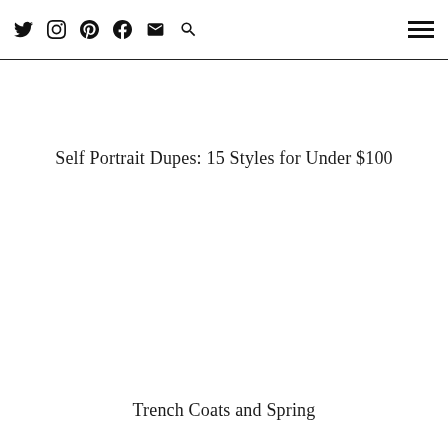Twitter Instagram Pinterest Facebook Email Search [hamburger menu]
Self Portrait Dupes: 15 Styles for Under $100
Trench Coats and Spring